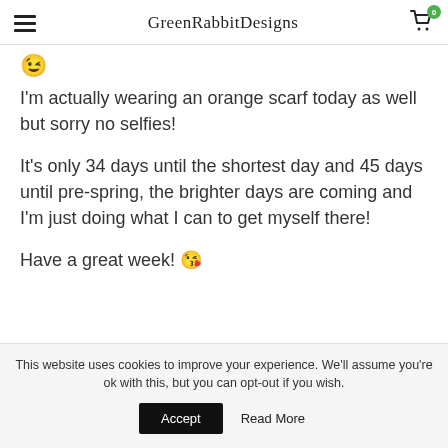GreenRabbitDesigns
😉
I'm actually wearing an orange scarf today as well but sorry no selfies!
It's only 34 days until the shortest day and 45 days until pre-spring, the brighter days are coming and I'm just doing what I can to get myself there!
Have a great week! 😘
This website uses cookies to improve your experience. We'll assume you're ok with this, but you can opt-out if you wish.
Accept  Read More